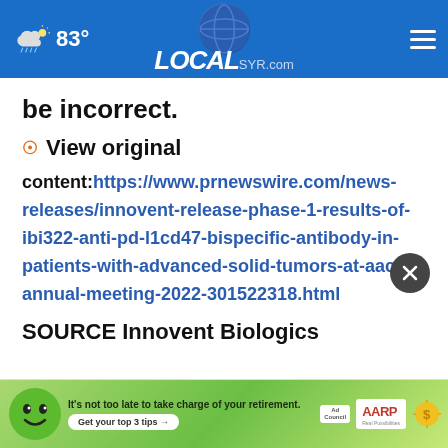LOCALsyr.com — 83° weather — hamburger menu
be incorrect.
☉ View original
content:https://www.prnewswire.com/news-releases/innovent-release-phase-1-results-of-ibi322-anti-pd-l1cd47-bispecific-antibody-in-patients-with-advanced-solid-tumors-at-aacr-annual-meeting-2022-301522318.html
SOURCE Innovent Biologics
[Figure (infographic): AARP advertisement banner: green background with cartoon face, text 'It's not too late to take charge of your retirement. Get your top 3 tips →', Ad Council logo, AARP logo, sun icon with dollar sign]